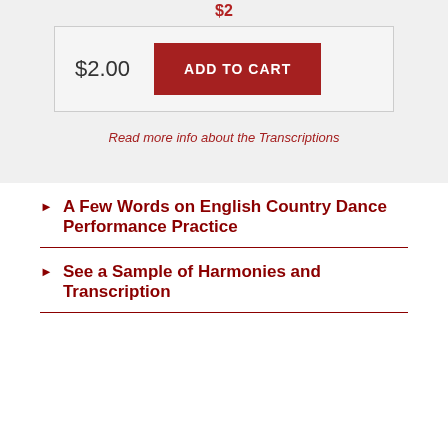$2
$2.00
ADD TO CART
Read more info about the Transcriptions
A Few Words on English Country Dance Performance Practice
See a Sample of Harmonies and Transcription